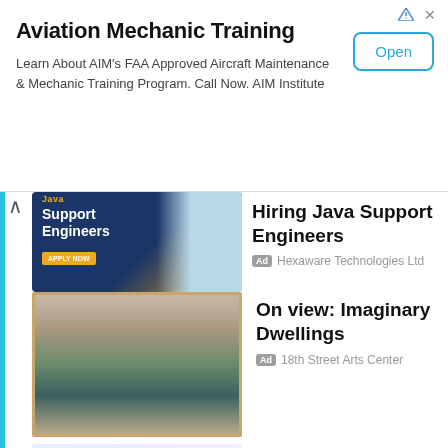[Figure (screenshot): Aviation Mechanic Training advertisement banner with Open button]
Aviation Mechanic Training
Learn About AIM's FAA Approved Aircraft Maintenance & Mechanic Training Program. Call Now. AIM Institute
[Figure (screenshot): Hiring Java Support Engineers - Hexaware Technologies ad image]
Hiring Java Support Engineers
Ad  Hexaware Technologies Ltd
[Figure (screenshot): On view: Imaginary Dwellings - 18th Street Arts Center ad image]
On view: Imaginary Dwellings
Ad  18th Street Arts Center
[Figure (screenshot): Cloud-Based Asset Platform - Grey Trunk RFID ad image]
Cloud-Based Asset Platform
Ad  Grey Trunk RFID